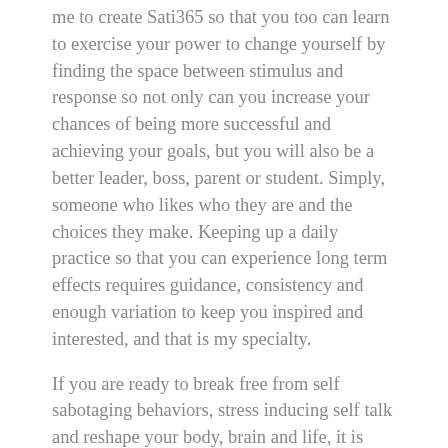me to create Sati365 so that you too can learn to exercise your power to change yourself by finding the space between stimulus and response so not only can you increase your chances of being more successful and achieving your goals, but you will also be a better leader, boss, parent or student. Simply, someone who likes who they are and the choices they make. Keeping up a daily practice so that you can experience long term effects requires guidance, consistency and enough variation to keep you inspired and interested, and that is my specialty.
If you are ready to break free from self sabotaging behaviors, stress inducing self talk and reshape your body, brain and life, it is time to join Sati365.
www.patriciamoreno.com/sati365